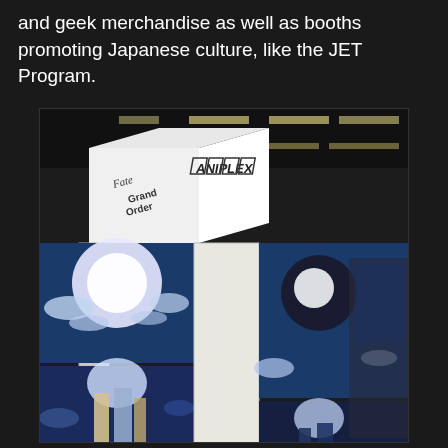and geek merchandise as well as booths promoting Japanese culture, like the JET Program.
[Figure (photo): Photo of an Aniplex convention booth displaying Fate Grand Order promotional materials. A large overhead sign reads 'ANIPLEX' with individual letters in boxes, and a side panel reads 'Fate Grand Order'. Below are large anime artwork panels on display stands showing characters from the game, with a red carpet floor visible and other booths in the background.]